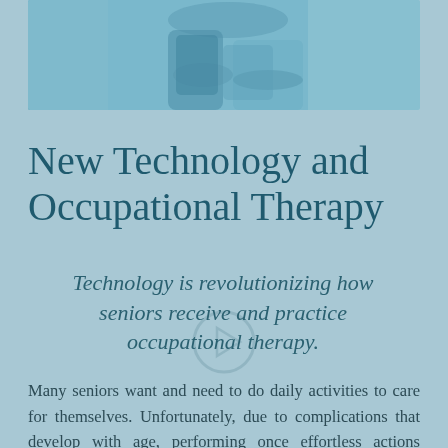[Figure (photo): Photo of a healthcare worker in blue scrubs assisting an elderly patient, cropped at the top of the page.]
New Technology and Occupational Therapy
Technology is revolutionizing how seniors receive and practice occupational therapy.
Many seniors want and need to do daily activities to care for themselves. Unfortunately, due to complications that develop with age, performing once effortless actions become challenging. Occupational therapy at skilled nursing facilities and skilled nursing hospitals helps seniors learn how to do household chores, groom themselves, engage in hobbies, and enjoy social activities.